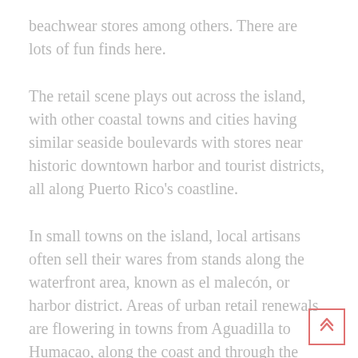beachwear stores among others. There are lots of fun finds here.
The retail scene plays out across the island, with other coastal towns and cities having similar seaside boulevards with stores near historic downtown harbor and tourist districts, all along Puerto Rico’s coastline.
In small towns on the island, local artisans often sell their wares from stands along the waterfront area, known as el malecón, or harbor district. Areas of urban retail renewals are flowering in towns from Aguadilla to Humacao, along the coast and through the central highland. Patron Saint festivals held in towns across the island are